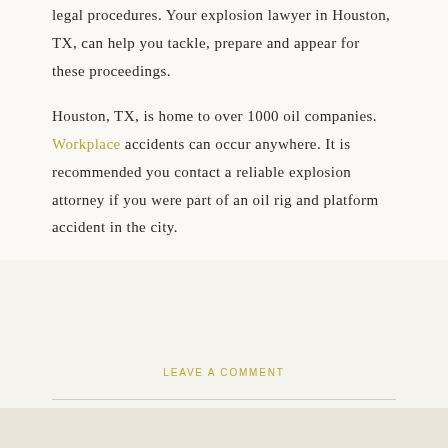legal procedures. Your explosion lawyer in Houston, TX, can help you tackle, prepare and appear for these proceedings.
Houston, TX, is home to over 1000 oil companies. Workplace accidents can occur anywhere. It is recommended you contact a reliable explosion attorney if you were part of an oil rig and platform accident in the city.
LEAVE A COMMENT